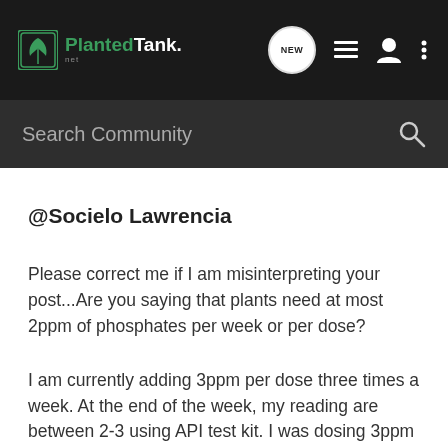Planted Tank — navigation bar with logo, NEW bubble, list icon, user icon, more icon
Search Community
@Socielo Lawrencia
Please correct me if I am misinterpreting your post...Are you saying that plants need at most 2ppm of phosphates per week or per dose?
I am currently adding 3ppm per dose three times a week. At the end of the week, my reading are between 2-3 using API test kit. I was dosing 3ppm before but I was getting some GSA on some